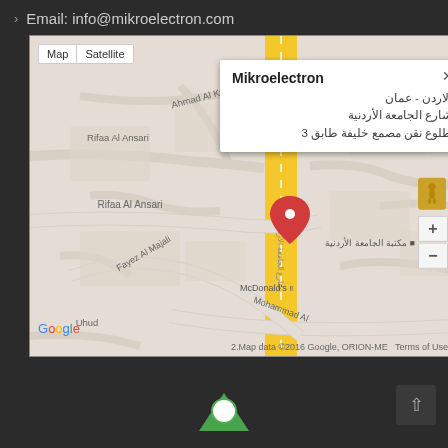› Email: info@mikroelectron.com
[Figure (map): Google Maps screenshot showing location of Mikroelectron in Amman, Jordan. Info popup shows: الاردن - عمان, شارع الجامعة الأردنية, طلوع نقن مصمع خليفة طابق 3. Map shows Rifaa Al Ansari street, McDonald's, Fayez Al Majali, Mohammad Al, Uhud area. Red pin marker visible. Map/Satellite toggle buttons, zoom controls, Google logo, Map data ©2016 Google, ORION-ME, Terms of Use.]
[Figure (logo): Partial logo visible at bottom center of page]